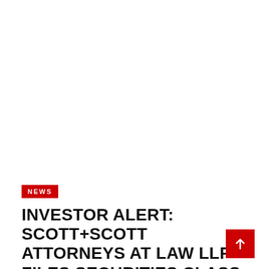NEWS
INVESTOR ALERT: SCOTT+SCOTT ATTORNEYS AT LAW LLP FILES SECURITIES CLASS ACTION AGAINST ROBINHOOD MARKETS INC. (NASDAQ: HOOD)